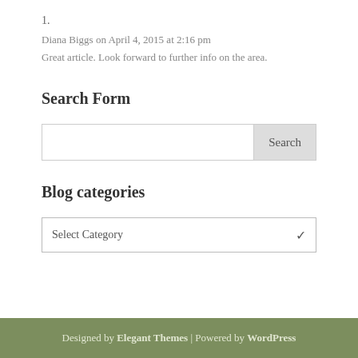1.
Diana Biggs on April 4, 2015 at 2:16 pm
Great article. Look forward to further info on the area.
Search Form
[Figure (other): Search form with text input box and Search button]
Blog categories
[Figure (other): Dropdown select widget showing 'Select Category']
Designed by Elegant Themes | Powered by WordPress